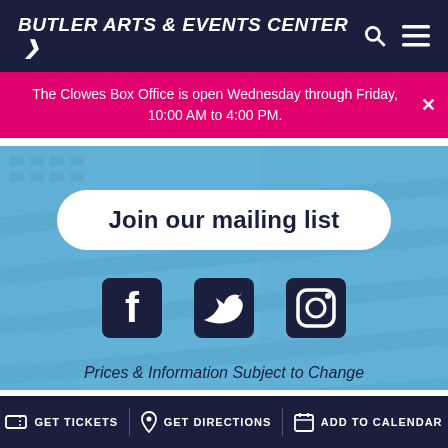BUTLER ARTS & EVENTS CENTER
The Clowes Box Office is open Wednesday through Friday, 10:00 AM to 4:00 PM.
[Figure (screenshot): Hero background with stage seating in light blue tones]
Join our mailing list
[Figure (infographic): Social media icons for Facebook, Twitter, and Instagram]
Prices & Information Subject to Change
NATIONAL ARTS
GET TICKETS   GET DIRECTIONS   ADD TO CALENDAR